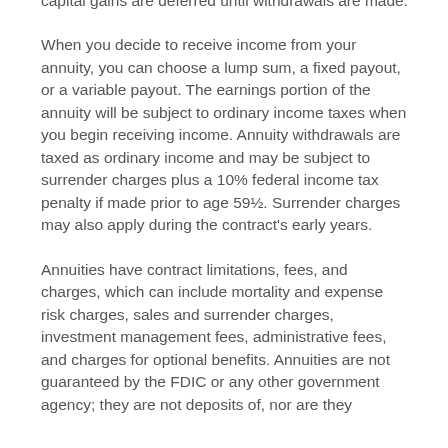capital gains are deferred until withdrawals are made.
When you decide to receive income from your annuity, you can choose a lump sum, a fixed payout, or a variable payout. The earnings portion of the annuity will be subject to ordinary income taxes when you begin receiving income. Annuity withdrawals are taxed as ordinary income and may be subject to surrender charges plus a 10% federal income tax penalty if made prior to age 59½. Surrender charges may also apply during the contract's early years.
Annuities have contract limitations, fees, and charges, which can include mortality and expense risk charges, sales and surrender charges, investment management fees, administrative fees, and charges for optional benefits. Annuities are not guaranteed by the FDIC or any other government agency; they are not deposits of, nor are they